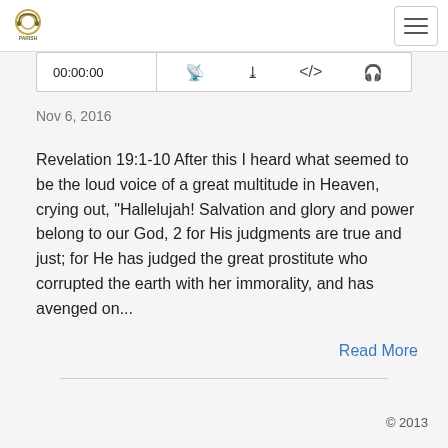PARISH | Navigation menu
00:00:00
Nov 6, 2016
Revelation 19:1-10 After this I heard what seemed to be the loud voice of a great multitude in Heaven, crying out, “Hallelujah! Salvation and glory and power belong to our God, 2 for His judgments are true and just; for He has judged the great prostitute who corrupted the earth with her immorality, and has avenged on...
Read More
© 2013